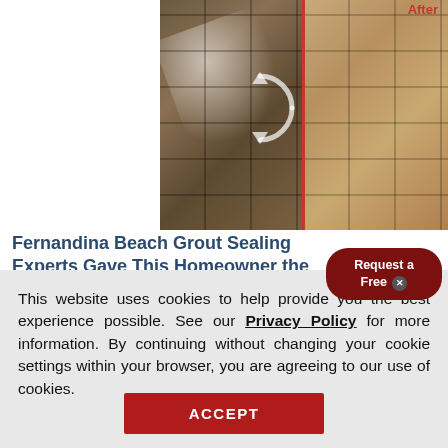[Figure (photo): Before and after comparison of tile floor grout sealing. Left side shows shiny/wet-looking tile with reflections (before), right side shows clean matte travertine tile (after). A red vertical line divides the two sides with a circular arrow overlay. Labels 'Before' and 'After' on respective sides. Sir Grout NorthEast Florida logo in bottom right.]
Fernandina Beach Grout Sealing Experts Gave This Homeowner the Floor She Wanted
This website uses cookies to help provide you the best experience possible. See our Privacy Policy for more information. By continuing without changing your cookie settings within your browser, you are agreeing to our use of cookies.